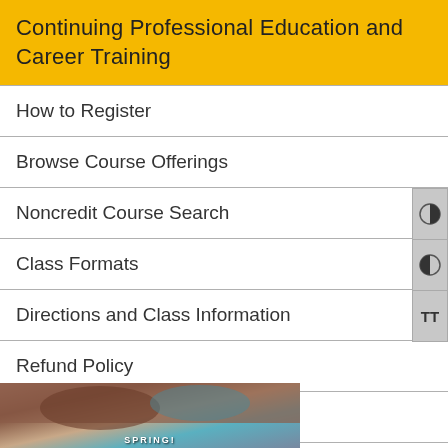Continuing Professional Education and Career Training
How to Register
Browse Course Offerings
Noncredit Course Search
Class Formats
Directions and Class Information
Refund Policy
Contact Us
[Figure (photo): Partial view of a photo at the bottom of the page, showing a person, with text 'SPRING!' visible]